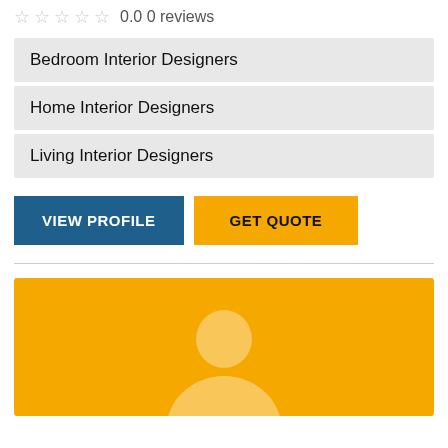0.0 0 reviews
Bedroom Interior Designers
Home Interior Designers
Living Interior Designers
VIEW PROFILE
GET QUOTE
[Figure (illustration): Yellow card with a light-colored person silhouette/avatar at the bottom center]